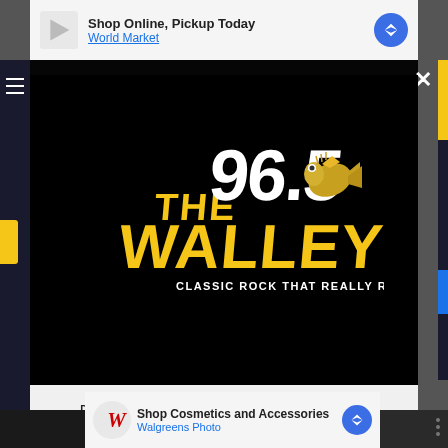[Figure (screenshot): Top advertisement banner: Shop Online, Pickup Today - World Market with navigation arrow icon]
[Figure (logo): 96.5 The Walleye radio station logo with stylized walleye fish graphic and tagline 'Classic Rock That Really Rocks!']
DOWNLOAD THE 96.5 THE WALLEYE MOBILE APP
GET OUR FREE MOBILE APP
Also listen on: amazon alexa
[Figure (screenshot): Bottom advertisement banner: Shop Cosmetics and Accessories - Walgreens Photo with W logo and navigation arrow icon]